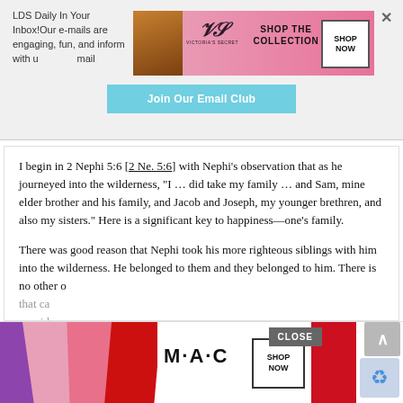LDS Daily In Your Inbox!Our e-mails are engaging, fun, and informative. Stay up to date with u
[Figure (advertisement): Victoria's Secret advertisement banner with model, VS logo, 'SHOP THE COLLECTION' text, and 'SHOP NOW' button]
Join Our Email Club
I begin in 2 Nephi 5:6 [2 Ne. 5:6] with Nephi's observation that as he journeyed into the wilderness, "I … did take my family … and Sam, mine elder brother and his family, and Jacob and Joseph, my younger brethren, and also my sisters." Here is a significant key to happiness—one's family.
There was good reason that Nephi took his more righteous siblings with him into the wilderness. He belonged to them and they belonged to him. There is no other o that ca provid
[Figure (advertisement): MAC cosmetics advertisement with lipsticks, MAC logo, 'SHOP NOW' button, close button, and reCAPTCHA element]